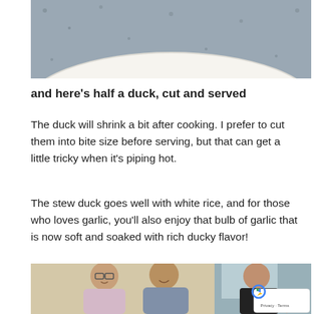[Figure (photo): Top portion of a photo showing a white plate with food, on a speckled dark surface]
and here’s half a duck, cut and served
The duck will shrink a bit after cooking. I prefer to cut them into bite size before serving, but that can get a little tricky when it’s piping hot.
The stew duck goes well with white rice, and for those who loves garlic, you’ll also enjoy that bulb of garlic that is now soft and soaked with rich ducky flavor!
[Figure (photo): Bottom portion showing two people (a young woman with glasses in a light purple top and a young man in a blue/grey top) smiling at the camera on the left side, and a woman in a black top pointing at food on the right side, with a reCAPTCHA badge in the bottom right corner]